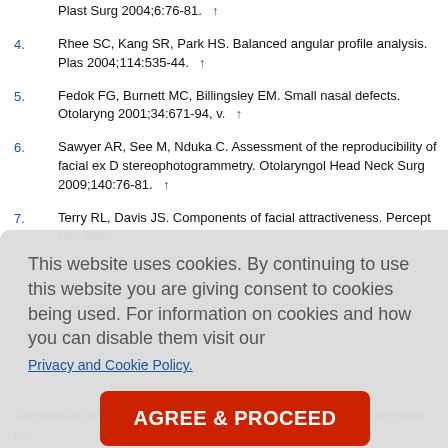Plast Surg 2004;6:76-81. ↑
4. Rhee SC, Kang SR, Park HS. Balanced angular profile analysis. Plas 2004;114:535-44. ↑
5. Fedok FG, Burnett MC, Billingsley EM. Small nasal defects. Otolaryng 2001;34:671-94, v. ↑
6. Sawyer AR, See M, Nduka C. Assessment of the reproducibility of facial ex D stereophotogrammetry. Otolaryngol Head Neck Surg 2009;140:76-81. ↑
7. Terry RL, Davis JS. Components of facial attractiveness. Percept Mot Skills
This website uses cookies. By continuing to use this website you are giving consent to cookies being used. For information on cookies and how you can disable them visit our Privacy and Cookie Policy.
AGREE & PROCEED
Preliminary etry. Cleft P metry of the 13;228:180 acy and p ng before i
et al. Validity craniotacial anthropometric measurement of 3D digital photogrammetric im